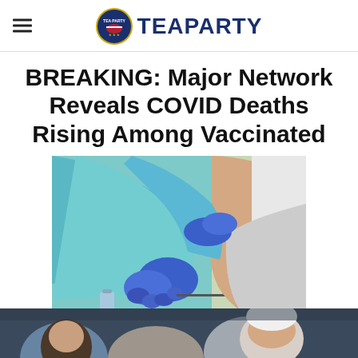TEAPARTY
BREAKING: Major Network Reveals COVID Deaths Rising Among Vaccinated
[Figure (photo): Medical professional in blue gloves and PPE administering a vaccine injection into a person's arm]
[Figure (photo): Partial image of people, cropped at bottom of page]